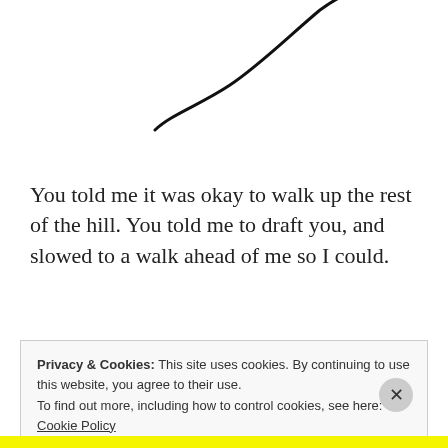[Figure (continuous-plot): Partial line chart visible at top of page — a curved black line rising from lower-left to upper-right, showing the upper portion of a chart that extends above the visible area.]
You told me it was okay to walk up the rest of the hill. You told me to draft you, and slowed to a walk ahead of me so I could.
Privacy & Cookies: This site uses cookies. By continuing to use this website, you agree to their use. To find out more, including how to control cookies, see here: Cookie Policy
Close and accept